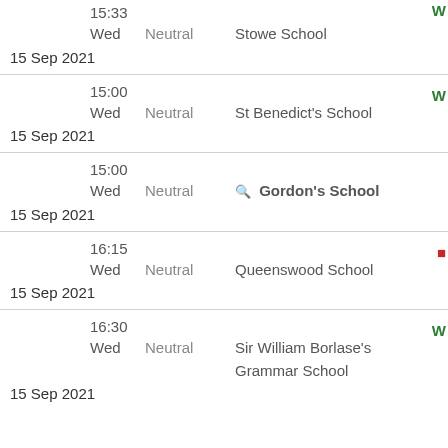15:33 Wed Neutral Stowe School 15 Sep 2021
15:00 Wed Neutral St Benedict's School 15 Sep 2021
15:00 Wed Neutral Gordon's School 15 Sep 2021
16:15 Wed Neutral Queenswood School 15 Sep 2021
16:30 Wed Neutral Sir William Borlase's Grammar School 15 Sep 2021